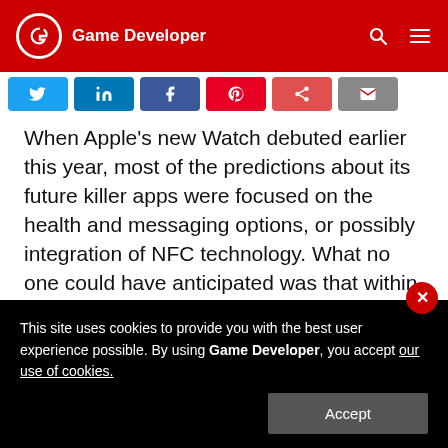Game Developer
When Apple's new Watch debuted earlier this year, most of the predictions about its future killer apps were focused on the health and messaging options, or possibly integration of NFC technology. What no one could have anticipated was that within days of its launch, one of its first mobile game apps, Lifeline, by 3 Minute Studios, would shoot to the top of the app store rankings.
This site uses cookies to provide you with the best user experience possible. By using Game Developer, you accept our use of cookies.